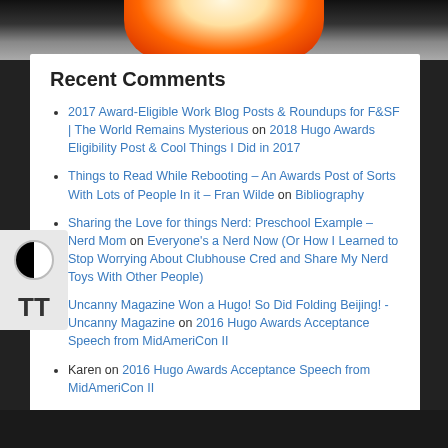Recent Comments
2017 Award-Eligible Work Blog Posts & Roundups for F&SF | The World Remains Mysterious on 2018 Hugo Awards Eligibility Post & Cool Things I Did in 2017
Things to Read While Rebooting – An Awards Post of Sorts With Lots of People In it – Fran Wilde on Bibliography
Sharing the Love for things Nerd: Preschool Example – Nerd Mom on Everyone's a Nerd Now (Or How I Learned to Stop Worrying About Clubhouse Cred and Share My Nerd Toys With Other People)
Uncanny Magazine Won a Hugo! So Did Folding Beijing! - Uncanny Magazine on 2016 Hugo Awards Acceptance Speech from MidAmeriCon II
Karen on 2016 Hugo Awards Acceptance Speech from MidAmeriCon II